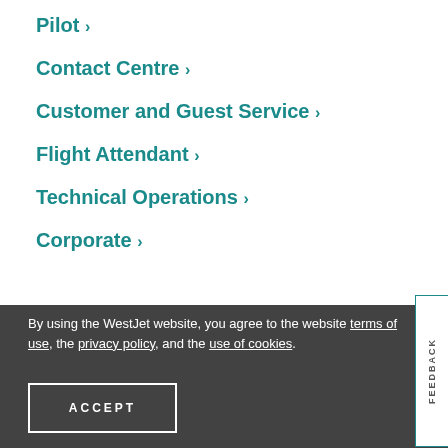Pilot >
Contact Centre >
Customer and Guest Service >
Flight Attendant >
Technical Operations >
Corporate >
By using the WestJet website, you agree to the website terms of use, the privacy policy, and the use of cookies.
ACCEPT